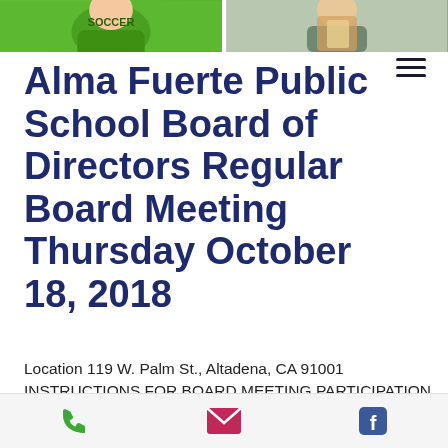[Figure (photo): Two side-by-side cropped photos at top of page: left photo shows a person in a green t-shirt, right photo shows a person holding something colorful]
Alma Fuerte Public School Board of Directors Regular Board Meeting Thursday October 18, 2018
Location 119 W. Palm St., Altadena, CA 91001
INSTRUCTIONS FOR BOARD MEETING PARTICIPATION BY MEMBERS OF THE PUBLIC The Board
[Figure (screenshot): Mobile app bottom toolbar with phone icon (green), email icon (red/pink), and Facebook icon (blue)]